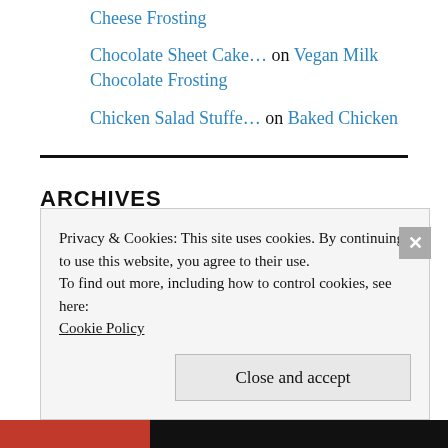Cheese Frosting
Chocolate Sheet Cake… on Vegan Milk Chocolate Frosting
Chicken Salad Stuffe… on Baked Chicken
ARCHIVES
Privacy & Cookies: This site uses cookies. By continuing to use this website, you agree to their use.
To find out more, including how to control cookies, see here:
Cookie Policy
Close and accept